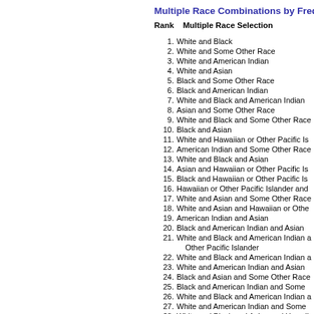Multiple Race Combinations by Frequ
Rank    Multiple Race Selection
1. White and Black
2. White and Some Other Race
3. White and American Indian
4. White and Asian
5. Black and Some Other Race
6. Black and American Indian
7. White and Black and American Indian
8. Asian and Some Other Race
9. White and Black and Some Other Race
10. Black and Asian
11. White and Hawaiian or Other Pacific Islander
12. American Indian and Some Other Race
13. White and Black and Asian
14. Asian and Hawaiian or Other Pacific Islander
15. Black and Hawaiian or Other Pacific Islander
16. Hawaiian or Other Pacific Islander and Some Other Race
17. White and Asian and Some Other Race
18. White and Asian and Hawaiian or Other Pacific Islander
19. American Indian and Asian
20. Black and American Indian and Asian
21. White and Black and American Indian and Hawaiian or Other Pacific Islander
22. White and Black and American Indian and Asian
23. White and American Indian and Asian
24. Black and Asian and Some Other Race
25. Black and American Indian and Some Other Race
26. White and Black and American Indian and Asian
27. White and American Indian and Some Other Race
28. White and Black and Asian and Hawaiian or Other Pacific Islander
29. Black and Asian and Hawaiian or Other Pacific Islander and Some Other Race
30. White and American Indian and Hawaiian or Other Pacific Islander